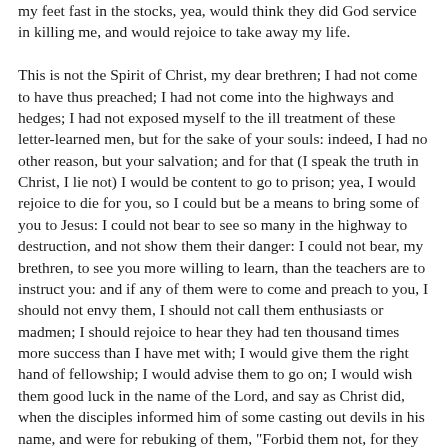my feet fast in the stocks, yea, would think they did God service in killing me, and would rejoice to take away my life.

This is not the Spirit of Christ, my dear brethren; I had not come to have thus preached; I had not come into the highways and hedges; I had not exposed myself to the ill treatment of these letter-learned men, but for the sake of your souls: indeed, I had no other reason, but your salvation; and for that (I speak the truth in Christ, I lie not) I would be content to go to prison; yea, I would rejoice to die for you, so I could but be a means to bring some of you to Jesus: I could not bear to see so many in the highway to destruction, and not show them their danger: I could not bear, my brethren, to see you more willing to learn, than the teachers are to instruct you: and if any of them were to come and preach to you, I should not envy them, I should not call them enthusiasts or madmen; I should rejoice to hear they had ten thousand times more success than I have met with; I would give them the right hand of fellowship; I would advise them to go on; I would wish them good luck in the name of the Lord, and say as Christ did, when the disciples informed him of some casting out devils in his name, and were for rebuking of them, "Forbid them not, for they that are not against us are for us;" or as St. Paul says, "Some preach Christ of envy, and some of good-will; notwithstanding, so Christ is but preached, I rejoice; yea, and will rejoice." The gospel of Jesus, is the gospel of peace. Thus you may see, that to be righteous over-much, is to be uncharitable, censorious, and to persecute persons for